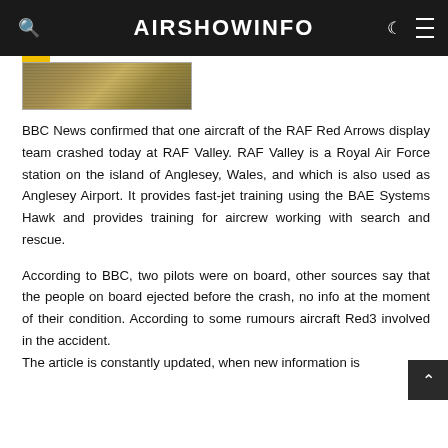AIRSHOWINFO
[Figure (photo): Partial image of what appears to be a wooden or camouflaged surface, possibly an aircraft or structure, shown cropped at the top of the article.]
BBC News confirmed that one aircraft of the RAF Red Arrows display team crashed today at RAF Valley. RAF Valley is a Royal Air Force station on the island of Anglesey, Wales, and which is also used as Anglesey Airport. It provides fast-jet training using the BAE Systems Hawk and provides training for aircrew working with search and rescue.
According to BBC, two pilots were on board, other sources say that the people on board ejected before the crash, no info at the moment of their condition. According to some rumours aircraft Red3 involved in the accident.
The article is constantly updated, when new information is